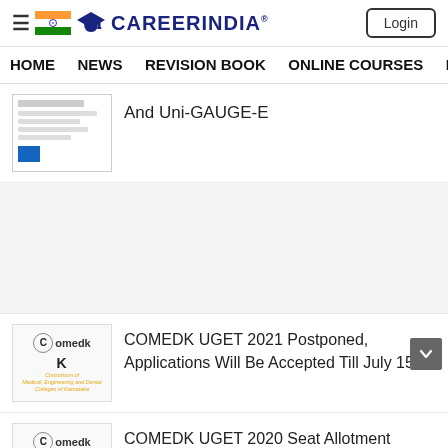CareerIndia — Login
HOME   NEWS   REVISION BOOK   ONLINE COURSES   NE
And Uni-GAUGE-E
COMEDK UGET 2021 Postponed, Applications Will Be Accepted Till July 15
COMEDK UGET 2020 Seat Allotment Result Declared At comedk.org